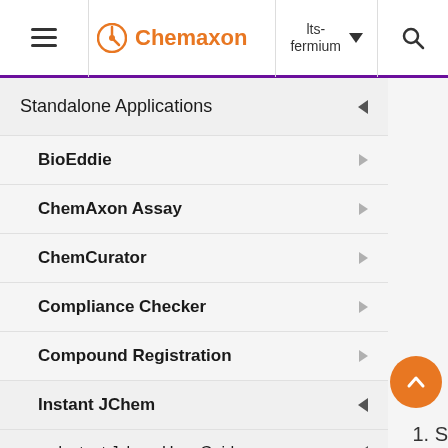Chemaxon — lts-fermium
Standalone Applications
BioEddie
ChemAxon Assay
ChemCurator
Compliance Checker
Compound Registration
Instant JChem
Instant Jchem User Guide
Getting Started